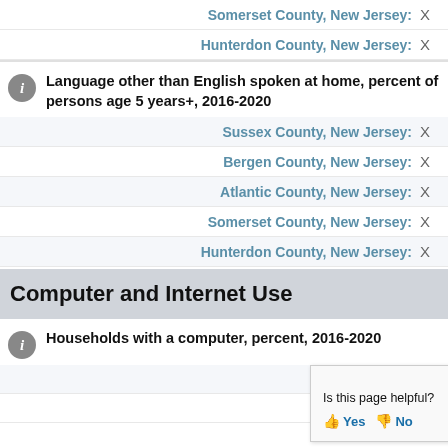Somerset County, New Jersey: X
Hunterdon County, New Jersey: X
Language other than English spoken at home, percent of persons age 5 years+, 2016-2020
Sussex County, New Jersey: X
Bergen County, New Jersey: X
Atlantic County, New Jersey: X
Somerset County, New Jersey: X
Hunterdon County, New Jersey: X
Computer and Internet Use
Households with a computer, percent, 2016-2020
Sussex County, New Jersey:
Bergen County, New Jersey: